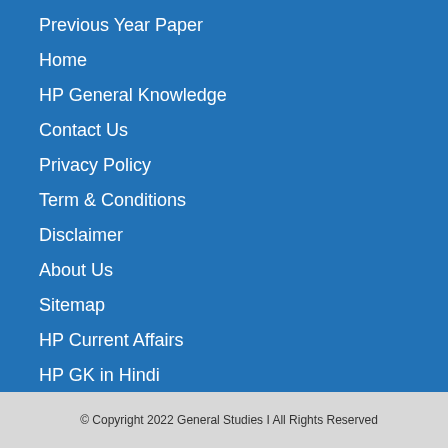Previous Year Paper
Home
HP General Knowledge
Contact Us
Privacy Policy
Term & Conditions
Disclaimer
About Us
Sitemap
HP Current Affairs
HP GK in Hindi
QUIZ
© Copyright 2022 General Studies I All Rights Reserved